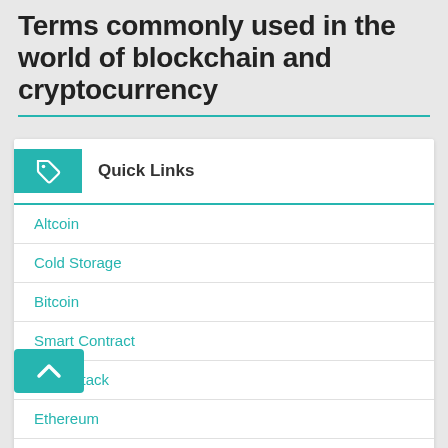Terms commonly used in the world of blockchain and cryptocurrency
Quick Links
Altcoin
Cold Storage
Bitcoin
Smart Contract
51% Attack
Ethereum
Anti-Money Laundering
Block explorer
Airdrop
Decentralized Autonomous Organizations
Block Reward